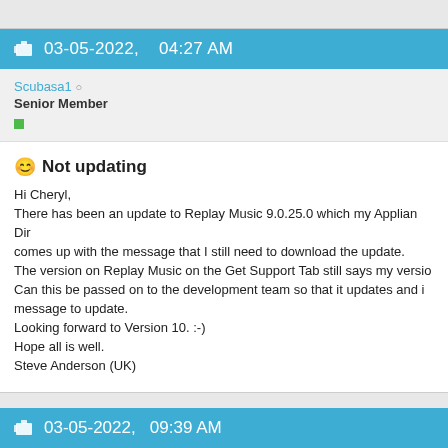03-05-2022,    04:27 AM
Scubasa1
Senior Member
Not updating
Hi Cheryl,
There has been an update to Replay Music 9.0.25.0 which my Applian Dir comes up with the message that I still need to download the update.
The version on Replay Music on the Get Support Tab still says my versio Can this be passed on to the development team so that it updates and i message to update.
Looking forward to Version 10. :-)
Hope all is well.
Steve Anderson (UK)
03-05-2022,   09:39 AM